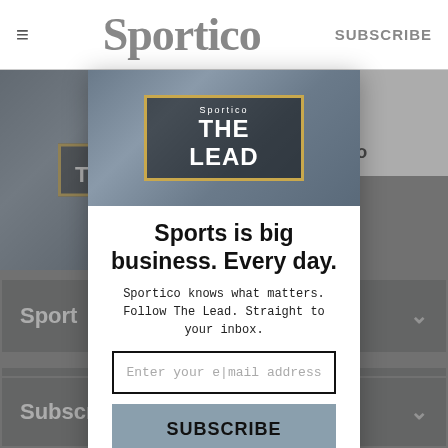≡   Sportico   SUBSCRIBE
[Figure (screenshot): Sportico 'The Lead' newsletter banner image with gold border on dark background]
ment's ; Ogg Also
Sport
Legal
Sitem
Sports is big business. Every day.
Sportico knows what matters. Follow The Lead. Straight to your inbox.
Enter your email address
SUBSCRIBE
No, thank you.
Subscriptions